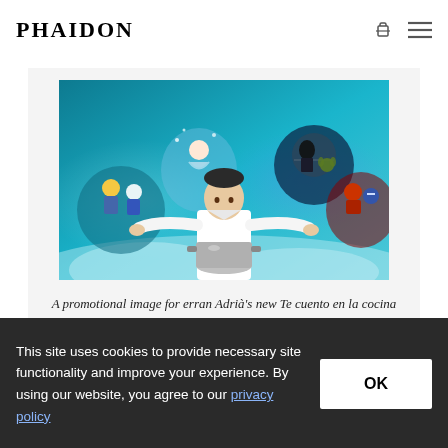PHAIDON
[Figure (photo): A promotional image for erran Adrià's new Te cuento en la cocina venture with Disney, showing a chef in white coat with Disney characters surrounding him including Toy Story characters, Elsa from Frozen, Darth Vader/Yoda from Star Wars, and Avengers characters in a magical teal/blue atmosphere]
A promotional image for erran Adrià's new Te cuento en la cocina venture with Disney
This site uses cookies to provide necessary site functionality and improve your experience. By using our website, you agree to our privacy policy